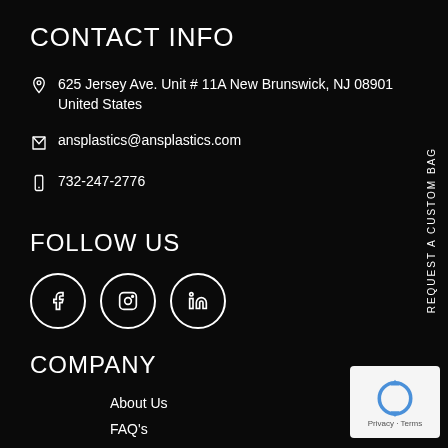CONTACT INFO
625 Jersey Ave. Unit # 11A New Brunswick, NJ 08901 United States
ansplastics@ansplastics.com
732-247-2776
FOLLOW US
[Figure (illustration): Three social media icons in circles: Facebook (f), Instagram (camera), LinkedIn (in)]
COMPANY
About Us
FAQ's
Blog
REQUEST A CUSTOM BAG
[Figure (illustration): Google reCAPTCHA badge with Privacy and Terms links]